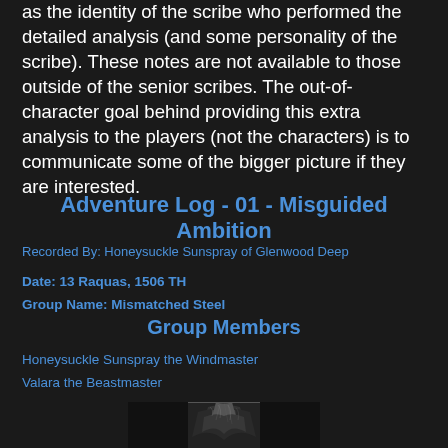as the identity of the scribe who performed the detailed analysis (and some personality of the scribe). These notes are not available to those outside of the senior scribes. The out-of-character goal behind providing this extra analysis to the players (not the characters) is to communicate some of the bigger picture if they are interested.
Adventure Log - 01 - Misguided Ambition
Recorded By: Honeysuckle Sunspray of Glenwood Deep
Date: 13 Raquas, 1506 TH
Group Name: Mismatched Steel
Group Members
Honeysuckle Sunspray the Windmaster
Valara the Beastmaster
[Figure (illustration): Black and white illustration showing a creature or character with dark textures, partially visible at bottom of page]